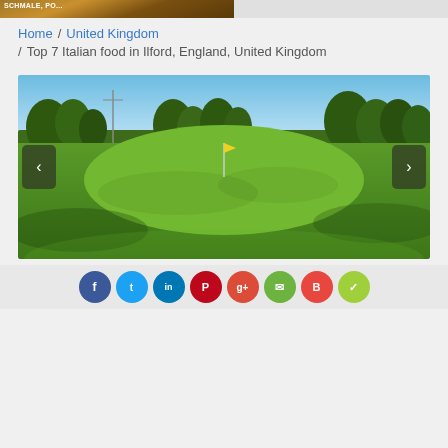[Figure (photo): Top banner partial image showing a brown/wood textured photo, cropped at top of page]
Home / United Kingdom / Top 7 Italian food in Ilford, England, United Kingdom
[Figure (photo): A golf course photo showing a green putting green with a flag pin in the center, surrounded by trees under a blue sky. Navigation arrows on left and right sides of the slideshow.]
[Figure (infographic): Social sharing icons bar at bottom: Facebook (blue), Twitter (cyan), LinkedIn (blue), Pinterest (red), Google+ (red), Email (green), Bookmark (red), and a green checkmark icon.]